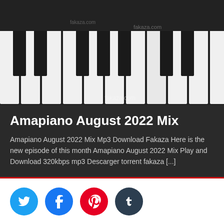[Figure (photo): Close-up image of piano keys (black and white) with 'fakaza.com' watermark visible]
Amapiano August 2022 Mix
Amapiano August 2022 Mix Mp3 Download Fakaza Here is the new episode of this month Amapiano August 2022 Mix Play and Download 320kbps mp3 Descarger torrent fakaza [...]
[Figure (infographic): Social media share buttons: Twitter (blue), Facebook (blue), Pinterest (red), Tumblr (dark navy)]
Download South African Fakaza